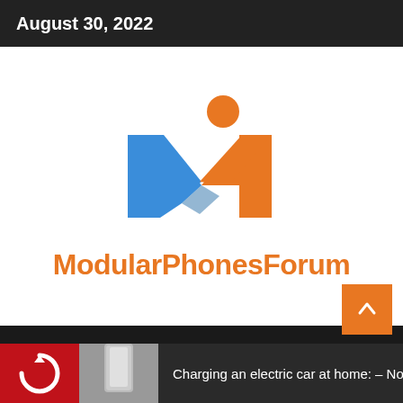August 30, 2022
[Figure (logo): ModularPhonesForum logo — a stylized M shape with blue left arm and orange right arm, orange circle above right arm, on white background]
ModularPhonesForum
Charging an electric car at home: – Now the st